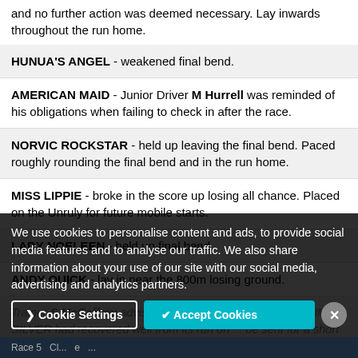and no further action was deemed necessary. Lay inwards throughout the run home.
HUNUA'S ANGEL - weakened final bend.
AMERICAN MAID - Junior Driver M Hurrell was reminded of his obligations when failing to check in after the race.
NORVIC ROCKSTAR - held up leaving the final bend. Paced roughly rounding the final bend and in the run home.
MISS LIPPIE - broke in the score up losing all chance. Placed on the Unruly for future mobile starts.
LADY NOELEEN - held up final bend.
ANDY QUICK - lay in near the 800m losing ground.
Trainer S McCaffrey advised Stewards on 14 April that SWIMN SILVER had recovered well from its run on ... be sent for a short spell before resuming.
We use cookies to personalise content and ads, to provide social media features and to analyse our traffic. We also share information about your use of our site with our social media, advertising and analytics partners.
Race 5 Cl... e ...